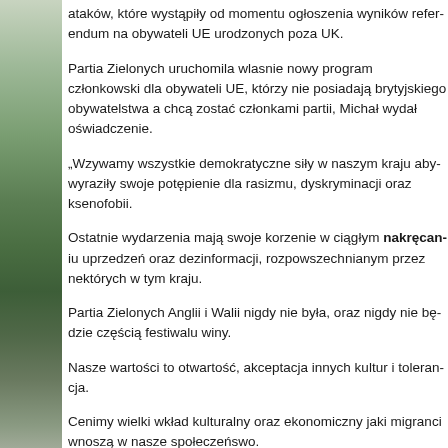ataków, które wystąpiły od momentu ogłoszenia wyników refer... UE urodzonych poza UK.
Partia Zielonych uruchomila wlasnie nowy program członkows... obywateli UE, którzy nie posiadają brytyjskiego obywatelstwa a... członkami partii, Michał wydał oświadczenie.
„Wzywamy wszystkie demokratyczne siły w naszym kraju aby... swoje potępienie dla rasizmu, dyskryminacji oraz ksenofobii.
Ostatnie wydarzenia mają swoje korzenie w ciągłym nakręcan... uprzedzeń oraz dezinformacji, rozpowszechnianym przez nek... tym kraju.
Partia Zielonych Anglii i Walii nigdy nie była, oraz nigdy nie bę... festiwalu winy.
Nasze wartości to otwartość, akceptacja innych kultur i toleran...
Cenimy wielki wkład kulturalny oraz ekonomiczny jaki migranc... społeczeńswo.